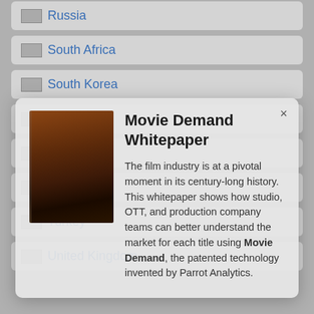Russia
South Africa
South Korea
Spain
Sweden
Thailand
Turkey
United Kingdom
[Figure (screenshot): Modal popup overlay showing a book cover image on the left and text on the right with title 'Movie Demand Whitepaper' and description about the film industry]
Movie Demand Whitepaper
The film industry is at a pivotal moment in its century-long history. This whitepaper shows how studio, OTT, and production company teams can better understand the market for each title using Movie Demand, the patented technology invented by Parrot Analytics.